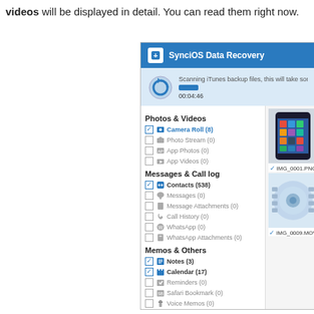videos will be displayed in detail. You can read them right now.
[Figure (screenshot): SynciOS Data Recovery application window showing scanning progress and a left panel with categories: Photos & Videos (Camera Roll 8, Photo Stream 0, App Photos 0, App Videos 0), Messages & Call log (Contacts 538, Messages 0, Message Attachments 0, Call History 0, WhatsApp 0, WhatsApp Attachments 0), Memos & Others (Notes 3, Calendar 17, Reminders 0, Safari Bookmark 0, Voice Memos 0, App Document 0). Right panel shows thumbnails IMG_0001.PNG, IMG_0002, IMG_0009.MOV, IMG_0010.]